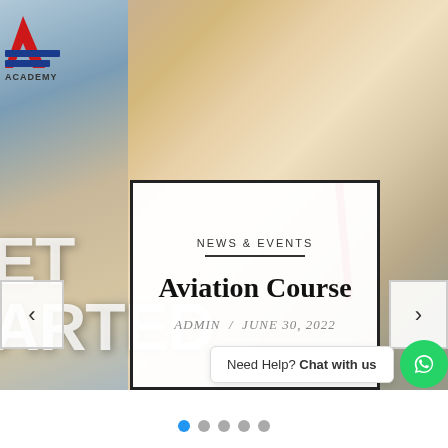[Figure (screenshot): Aviation academy website screenshot showing a hero image of a smiling man in pilot uniform writing, with a news & events card overlay, navigation arrows, GET STARTED text, chat widget, and carousel dots]
NEWS & EVENTS
Aviation Course
ADMIN / JUNE 30, 2022
Need Help? Chat with us